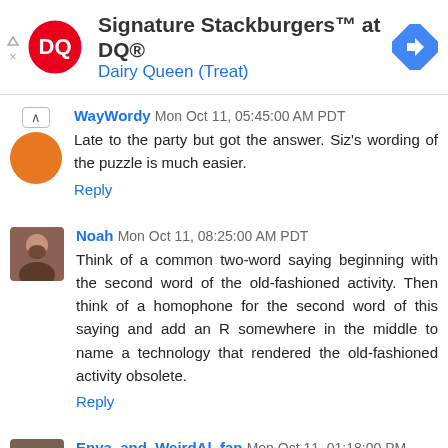[Figure (other): Dairy Queen advertisement banner with DQ logo, text 'Signature Stackburgers™ at DQ®' and 'Dairy Queen (Treat)', and a navigation arrow icon]
WayWordy  Mon Oct 11, 05:45:00 AM PDT
Late to the party but got the answer. Siz's wording of the puzzle is much easier.
Reply
Noah  Mon Oct 11, 08:25:00 AM PDT
Think of a common two-word saying beginning with the second word of the old-fashioned activity. Then think of a homophone for the second word of this saying and add an R somewhere in the middle to name a technology that rendered the old-fashioned activity obsolete.
Reply
Enya_and_WeirdAl_fan  Mon Oct 11, 01:18:00 PM PDT